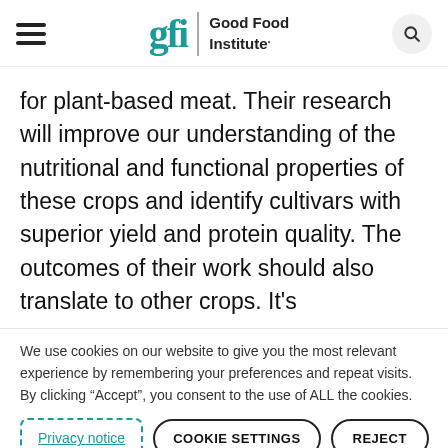Good Food Institute
for plant-based meat. Their research will improve our understanding of the nutritional and functional properties of these crops and identify cultivars with superior yield and protein quality. The outcomes of their work should also translate to other crops. It's
We use cookies on our website to give you the most relevant experience by remembering your preferences and repeat visits. By clicking “Accept”, you consent to the use of ALL the cookies.
Privacy notice | COOKIE SETTINGS | REJECT
ACCEPT